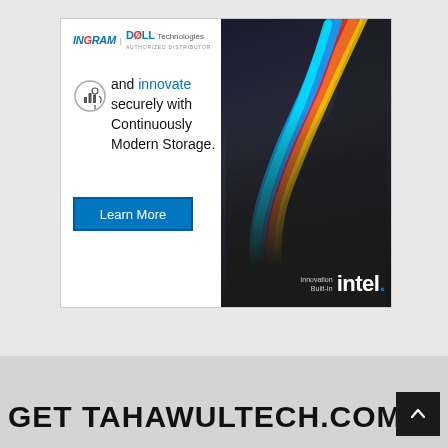[Figure (infographic): Ingram Micro and Dell Technologies Authorized Distributor advertisement banner featuring a man working at a laptop with a colorful swirl graphic, text reading 'and innovate securely with Continuously Modern Storage.' with a 'Learn More' button, Intel 'Innovation Built-In' branding in the bottom right]
GET TAHAWULTECH.COM I